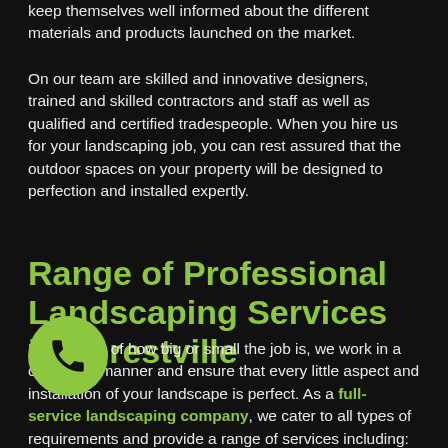keep themselves well informed about the different materials and products launched on the market.
On our team are skilled and innovative designers, trained and skilled contractors and staff as well as qualified and certified tradespeople. When you hire us for your landscaping job, you can rest assured that the outdoor spaces on your property will be designed to perfection and installed expertly.
Range of Professional Landscaping Services in Forestville
Regardless of how big or small the job is, we work in a concerted manner and ensure that every little aspect and installation of your landscape is perfect. As a full-service landscaping company, we cater to all types of requirements and provide a range of services including: